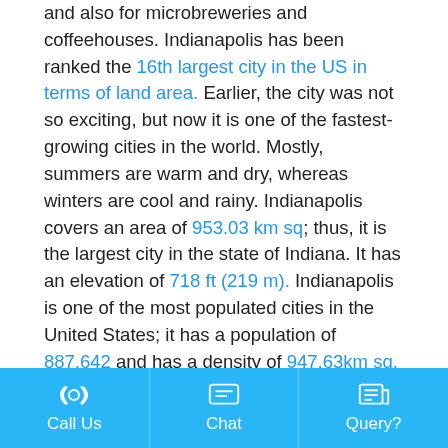and also for microbreweries and coffeehouses. Indianapolis has been ranked the 16th largest city in the US in terms of land area. Earlier, the city was not so exciting, but now it is one of the fastest-growing cities in the world. Mostly, summers are warm and dry, whereas winters are cool and rainy. Indianapolis covers an area of 953.03 km sq; thus, it is the largest city in the state of Indiana. It has an elevation of 718 ft (219 m). Indianapolis is one of the most populated cities in the United States; it has a population of 887,642 and has a density of 947.63km sq. All the big car manufacturers have their plants in Indianapolis. As the world's oldest race track is located in Indianapolis, it is also called the racing capital of the world. Various museums and educational institutions are located in Indianapolis. Some food professionals have rated Indianapolis as the best city In the world for American food. Currently, the GDP of Indianapolis is $140,762 million, and GDP per capita is $56,702. A large number of surrounding parks, open spaces, and trails are there in Indianapolis that offer amazing recreational opportunities. Indianapolis is a beautiful historical city that has a rich architectural heritage. It is also famous for its unique
Call Us   Chat   Query?